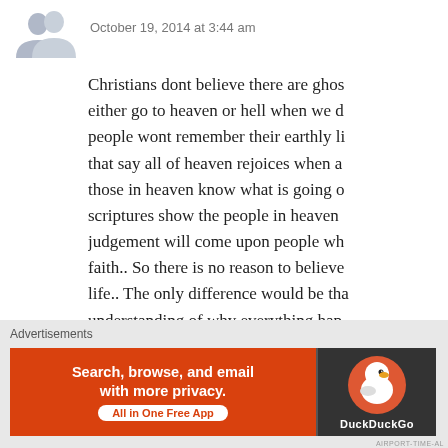[Figure (illustration): Gray avatar/user icon placeholder showing two overlapping person silhouettes]
October 19, 2014 at 3:44 am
Christians dont believe there are ghos either go to heaven or hell when we d people wont remember their earthly li that say all of heaven rejoices when a those in heaven know what is going o scriptures show the people in heaven judgement will come upon people wh faith.. So there is no reason to believe life.. The only difference would be th understanding of why everything hap Bible says God does all things for goo
Like
Advertisements
[Figure (screenshot): DuckDuckGo advertisement banner: orange left side with text 'Search, browse, and email with more privacy. All in One Free App', dark right side with DuckDuckGo duck logo]